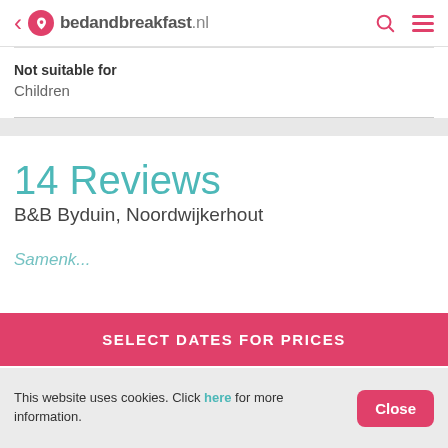bedandbreakfast.nl
Not suitable for
Children
14 Reviews
B&B Byduin, Noordwijkerhout
SELECT DATES FOR PRICES
This website uses cookies. Click here for more information.